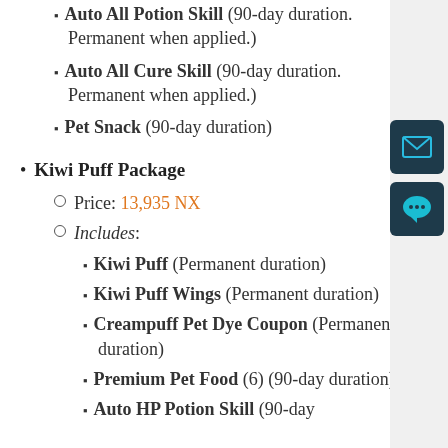Auto All Potion Skill (90-day duration. Permanent when applied.)
Auto All Cure Skill (90-day duration. Permanent when applied.)
Pet Snack (90-day duration)
Kiwi Puff Package
Price: 13,935 NX
Includes:
Kiwi Puff (Permanent duration)
Kiwi Puff Wings (Permanent duration)
Creampuff Pet Dye Coupon (Permanent duration)
Premium Pet Food (6) (90-day duration)
Auto HP Potion Skill (90-day